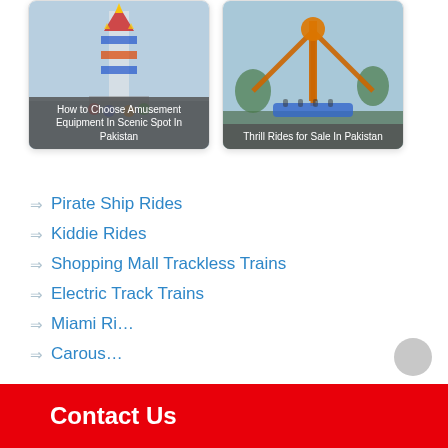[Figure (photo): Amusement ride (colorful rocket/tower ride) with caption overlay: How to Choose Amusement Equipment In Scenic Spot In Pakistan]
[Figure (photo): Thrill ride (large pendulum/swing ride) with caption overlay: Thrill Rides for Sale In Pakistan]
Pirate Ship Rides
Kiddie Rides
Shopping Mall Trackless Trains
Electric Track Trains
Miami Ri...
Carous...
Contact Us